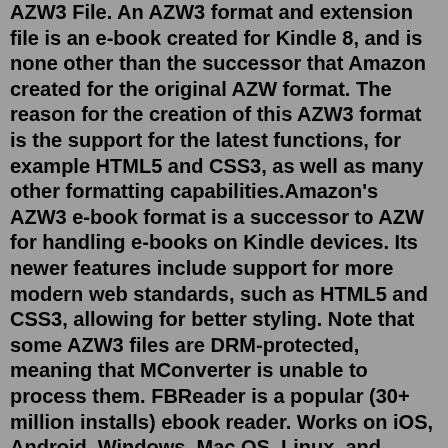AZW3 File. An AZW3 format and extension file is an e-book created for Kindle 8, and is none other than the successor that Amazon created for the original AZW format. The reason for the creation of this AZW3 format is the support for the latest functions, for example HTML5 and CSS3, as well as many other formatting capabilities.Amazon's AZW3 e-book format is a successor to AZW for handling e-books on Kindle devices. Its newer features include support for more modern web standards, such as HTML5 and CSS3, allowing for better styling. Note that some AZW3 files are DRM-protected, meaning that MConverter is unable to process them. FBReader is a popular (30+ million installs) ebook reader. Works on iOS, Android, Windows, Mac OS, Linux, and Chrome OS. FBReader supports many ebook formats, including ePub, mobi, fb2, HTML, RTF, plain text. The primary formats are ePub and fb2. FBReader uses its own book parser and rendering engine. The engine is lightweight, fast, and highly ...Super